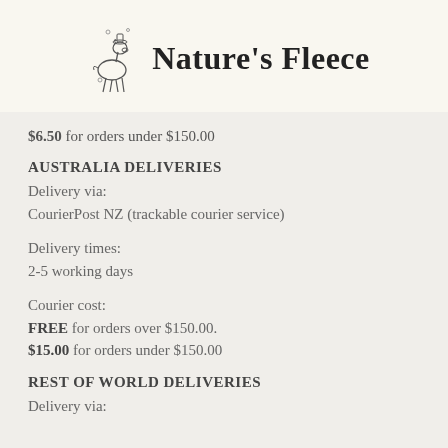[Figure (logo): Nature's Fleece logo with illustrated goat/animal figure and brand name text]
$6.50 for orders under $150.00
AUSTRALIA DELIVERIES
Delivery via:
CourierPost NZ (trackable courier service)
Delivery times:
2-5 working days
Courier cost:
FREE for orders over $150.00.
$15.00 for orders under $150.00
REST OF WORLD DELIVERIES
Delivery via: